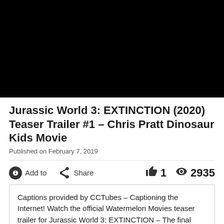[Figure (screenshot): Black video player placeholder]
Jurassic World 3: EXTINCTION (2020) Teaser Trailer #1 – Chris Pratt Dinosaur Kids Movie
Published on February 7, 2019
Add to   Share   1   2935
Captions provided by CCTubes – Captioning the Internet! Watch the official Watermelon Movies teaser trailer for Jurassic World 3: EXTINCTION – The final chapter in the epic Jurassic World trilogy